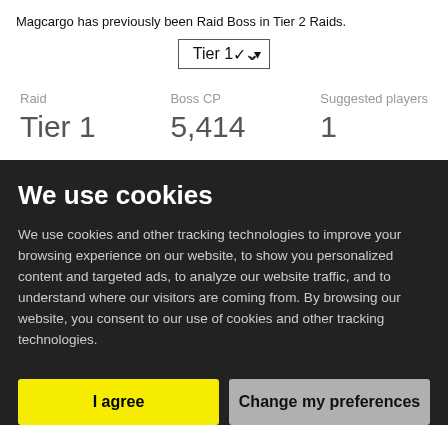Magcargo has previously been Raid Boss in Tier 2 Raids.
Tier 1
| Raid | Boss CP | Suggested players |
| --- | --- | --- |
| Tier 1 | 5,414 | 1 |
We use cookies
We use cookies and other tracking technologies to improve your browsing experience on our website, to show you personalized content and targeted ads, to analyze our website traffic, and to understand where our visitors are coming from. By browsing our website, you consent to our use of cookies and other tracking technologies.
I agree
Change my preferences